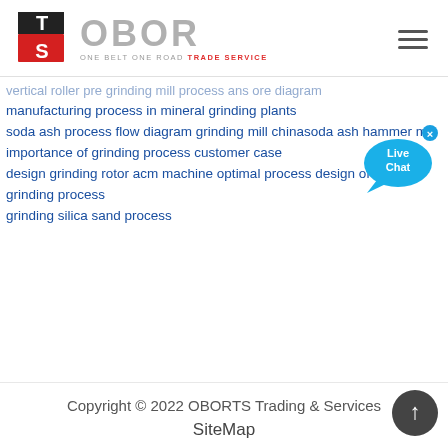[Figure (logo): OBOR Trade Service logo with TS icon in red/black and OBOR text in gray with tagline ONE BELT ONE ROAD TRADE SERVICE]
vertical roller pre grinding mill process ans ore diagram
manufacturing process in mineral grinding plants
soda ash process flow diagram grinding mill chinasoda ash hammer mill
importance of grinding process customer case
design grinding rotor acm machine optimal process design of Emery grinding process
grinding silica sand process
Copyright © 2022 OBORTS Trading & Services
SiteMap